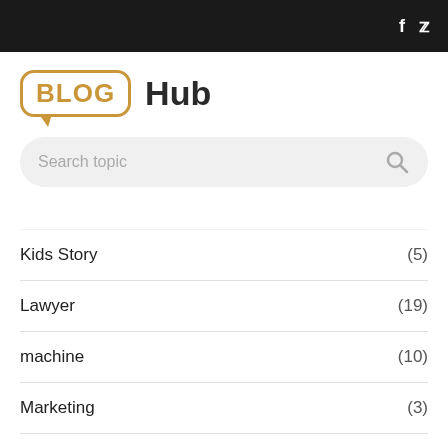BlogHub - social media icons (Facebook, Twitter)
BLOG Hub
Search topic
Kids Story (5)
Lawyer (19)
machine (10)
Marketing (3)
Medical laser (1)
MOM love you (4)